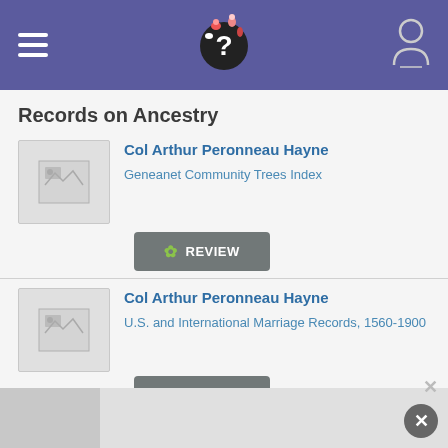Records on Ancestry
Col Arthur Peronneau Hayne
Geneanet Community Trees Index
REVIEW
Col Arthur Peronneau Hayne
U.S. and International Marriage Records, 1560-1900
REVIEW
Sponsored by Ancestry